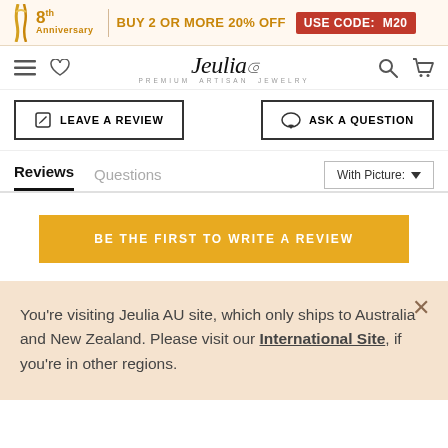8th Anniversary | BUY 2 OR MORE 20% OFF USE CODE: M20
Jeulia PREMIUM ARTISAN JEWELRY
LEAVE A REVIEW
ASK A QUESTION
Reviews  Questions
With Picture:
BE THE FIRST TO WRITE A REVIEW
You're visiting Jeulia AU site, which only ships to Australia and New Zealand. Please visit our International Site, if you're in other regions.